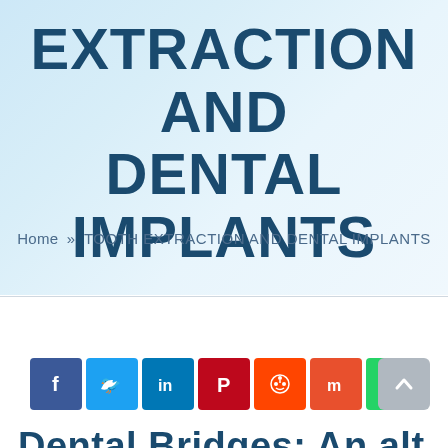EXTRACTION AND DENTAL IMPLANTS
Home » TOOTH EXTRACTION AND DENTAL IMPLANTS
[Figure (other): Social media share buttons row: Facebook (blue), Twitter (light blue), LinkedIn (dark blue), Pinterest (red), Reddit (orange-red), Mix (orange), WhatsApp (green), plus a scroll-to-top button (grey)]
Dental Bridges: An alt...